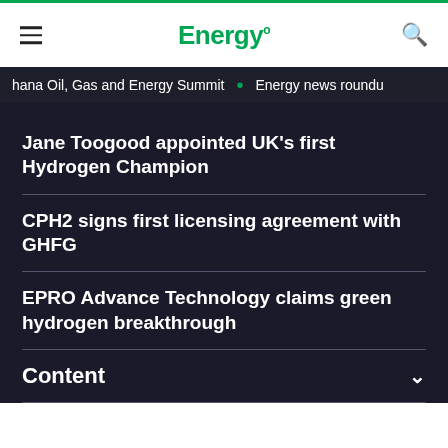Energy
hana Oil, Gas and Energy Summit • Energy news roundu
Jane Toogood appointed UK's first Hydrogen Champion
CPH2 signs first licensing agreement with GHFG
EPRO Advance Technology claims green hydrogen breakthrough
Content